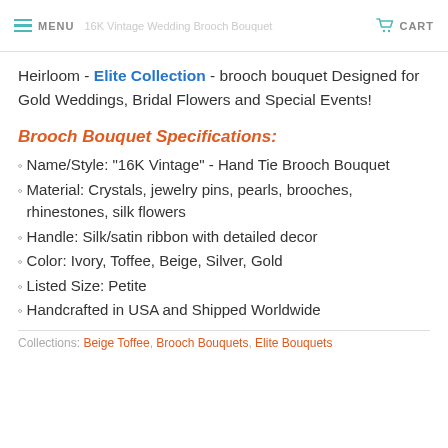MENU  16K Vintage Wedding Brooch Bouquet  CART
Heirloom - Elite Collection - brooch bouquet Designed for Gold Weddings, Bridal Flowers and Special Events!
Brooch Bouquet Specifications:
Name/Style: "16K Vintage" - Hand Tie Brooch Bouquet
Material: Crystals, jewelry pins, pearls, brooches, rhinestones, silk flowers
Handle: Silk/satin ribbon with detailed decor
Color: Ivory, Toffee, Beige, Silver, Gold
Listed Size: Petite
Handcrafted in USA and Shipped Worldwide
Collections: Beige Toffee, Brooch Bouquets, Elite Bouquets